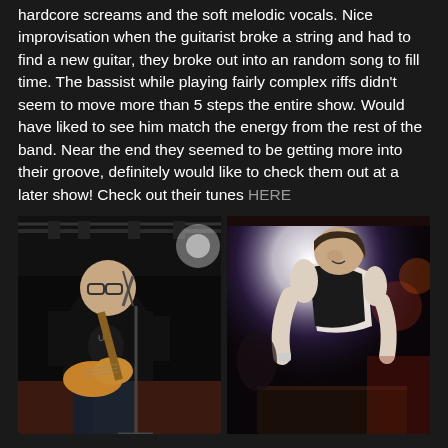hardcore screams and the soft melodic vocals. Nice improvisation when the guitarist broke a string and had to find a new guitar, they broke out into an random song to fill time. The bassist while playing fairly complex riffs didn't seem to move more than 5 steps the entire show. Would have liked to see him match the energy from the rest of the band. Near the end they seemed to be getting more into their groove, definitely would like to check them out at a later show! Check out their tunes HERE
[Figure (photo): Black and white concert photo of a heavyset man with glasses wearing a black t-shirt, playing guitar and singing into a microphone on stage]
[Figure (photo): Concert photo of a performer leaning forward intensely under a bright white spotlight, wearing a sleeveless top, with colorful stage lighting in background]